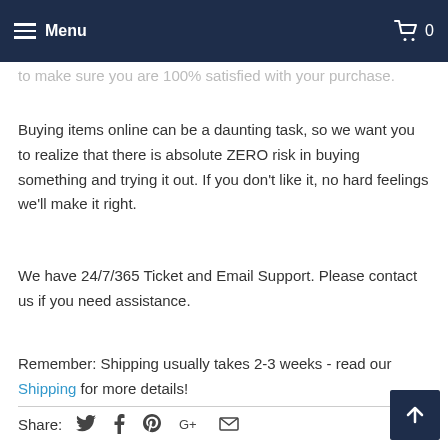Menu | 0
to make sure you are 100% satisfied with your purchase.
Buying items online can be a daunting task, so we want you to realize that there is absolute ZERO risk in buying something and trying it out. If you don't like it, no hard feelings we'll make it right.
We have 24/7/365 Ticket and Email Support. Please contact us if you need assistance.
Remember: Shipping usually takes 2-3 weeks - read our Shipping for more details!
Share: